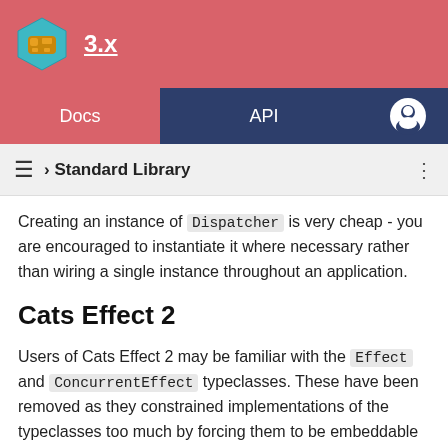3.x
Docs  API
≡ › Standard Library
Creating an instance of Dispatcher is very cheap - you are encouraged to instantiate it where necessary rather than wiring a single instance throughout an application.
Cats Effect 2
Users of Cats Effect 2 may be familiar with the Effect and ConcurrentEffect typeclasses. These have been removed as they constrained implementations of the typeclasses too much by forcing them to be embeddable in IO via def toIO[A](fa: F[A]): IO[A] . However, these typeclasses also had a valid use-case for unsafe running of effects to interface with impure APIs ( Future